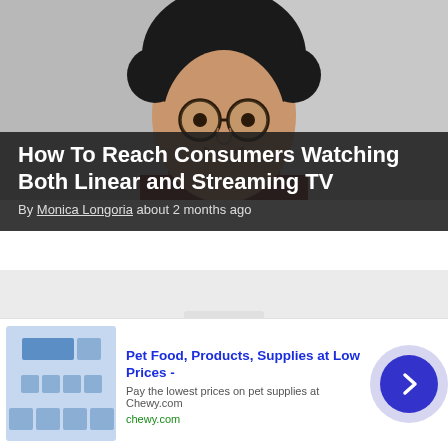[Figure (photo): Person with curly dark hair and round glasses, headshot photo used as article hero image]
How To Reach Consumers Watching Both Linear and Streaming TV
By Monica Longoria about 2 months ago
[Figure (photo): Placeholder content image area with image-not-found icon]
Pet Food, Products, Supplies at Low Prices -
Pay the lowest prices on pet supplies at Chewy.com
chewy.com